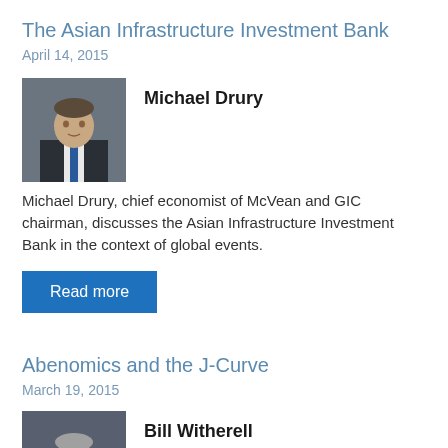The Asian Infrastructure Investment Bank
April 14, 2015
[Figure (photo): Headshot photo of Michael Drury, a man in a dark suit with a blue tie]
Michael Drury
Michael Drury, chief economist of McVean and GIC chairman, discusses the Asian Infrastructure Investment Bank in the context of global events.
Read more
Abenomics and the J-Curve
March 19, 2015
[Figure (photo): Headshot photo of Bill Witherell, an older man in a dark suit with a tie]
Bill Witherell
Bill Witherell of Cumberland Advisors discusses Japan and Abenomics.